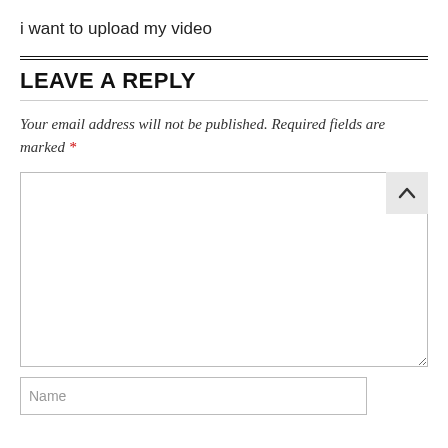i want to upload my video
LEAVE A REPLY
Your email address will not be published. Required fields are marked *